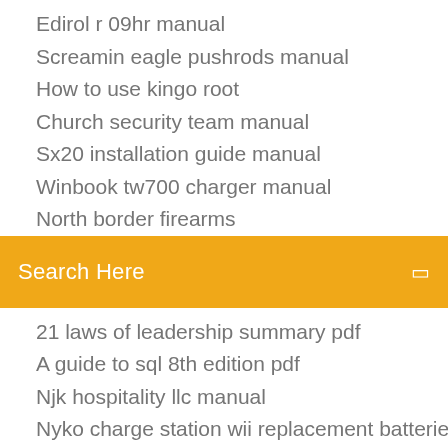Edirol r 09hr manual
Screamin eagle pushrods manual
How to use kingo root
Church security team manual
Sx20 installation guide manual
Winbook tw700 charger manual
North border firearms...
[Figure (screenshot): Orange search bar with 'Search Here' placeholder text and a search icon on the right]
21 laws of leadership summary pdf
A guide to sql 8th edition pdf
Njk hospitality llc manual
Nyko charge station wii replacement batteries
2001 dodge durango owners manual pdf
2005 r6 specs manual
Honda hra215 manual
Sullair air compressor troubleshooting
S7 thresh build manual
John deere lx188 drive belt replacement